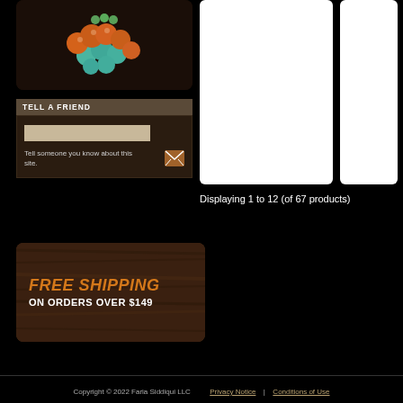[Figure (photo): Orange and turquoise bead jewelry/bracelet on dark background]
TELL A FRIEND
Tell someone you know about this site.
[Figure (illustration): Free Shipping on Orders Over $149 promotional banner with wood texture background]
[Figure (photo): Product tile - white background product image (large)]
[Figure (photo): Product tile - white background product image (small, partially visible)]
Displaying 1 to 12 (of 67 products)
Copyright © 2022 Faria Siddiqui LLC   Privacy Notice   |   Conditions of Use